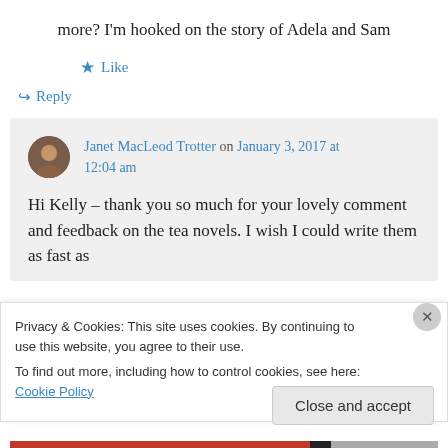more? I'm hooked on the story of Adela and Sam
★ Like
↪ Reply
Janet MacLeod Trotter on January 3, 2017 at 12:04 am
Hi Kelly – thank you so much for your lovely comment and feedback on the tea novels. I wish I could write them as fast as
Privacy & Cookies: This site uses cookies. By continuing to use this website, you agree to their use.
To find out more, including how to control cookies, see here: Cookie Policy
Close and accept